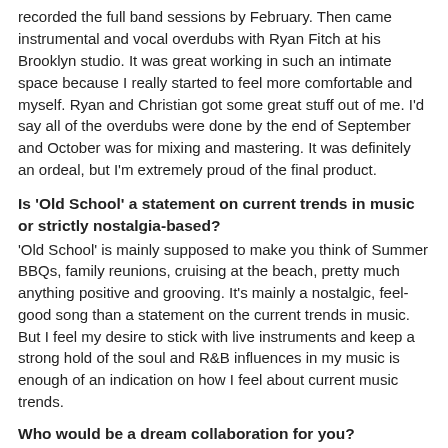recorded the full band sessions by February. Then came instrumental and vocal overdubs with Ryan Fitch at his Brooklyn studio. It was great working in such an intimate space because I really started to feel more comfortable and myself. Ryan and Christian got some great stuff out of me. I'd say all of the overdubs were done by the end of September and October was for mixing and mastering. It was definitely an ordeal, but I'm extremely proud of the final product.
Is 'Old School' a statement on current trends in music or strictly nostalgia-based?
'Old School' is mainly supposed to make you think of Summer BBQs, family reunions, cruising at the beach, pretty much anything positive and grooving. It's mainly a nostalgic, feel-good song than a statement on the current trends in music. But I feel my desire to stick with live instruments and keep a strong hold of the soul and R&B influences in my music is enough of an indication on how I feel about current music trends.
Who would be a dream collaboration for you?